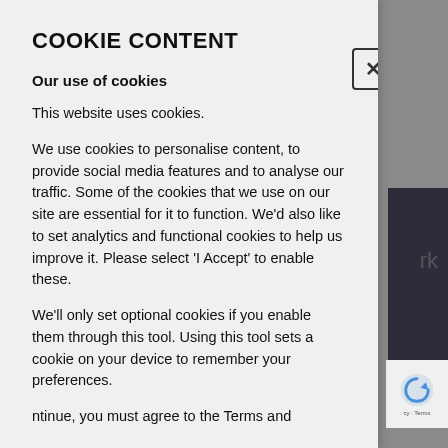COOKIE CONTENT
Our use of cookies
This website uses cookies.
We use cookies to personalise content, to provide social media features and to analyse our traffic. Some of the cookies that we use on our site are essential for it to function. We'd also like to set analytics and functional cookies to help us improve it. Please select 'I Accept' to enable these.
We'll only set optional cookies if you enable them through this tool. Using this tool sets a cookie on your device to remember your preferences.
ntinue, you must agree to the Terms and